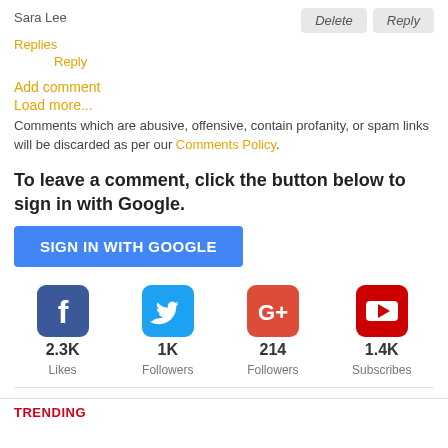Sara Lee
Delete   Reply
Replies
Reply
Add comment
Load more...
Comments which are abusive, offensive, contain profanity, or spam links will be discarded as per our Comments Policy.
To leave a comment, click the button below to sign in with Google.
SIGN IN WITH GOOGLE
[Figure (infographic): Social media icons row: Facebook (2.3K Likes), Twitter (1K Followers), Google+ (214 Followers), YouTube (1.4K Subscribes)]
TRENDING